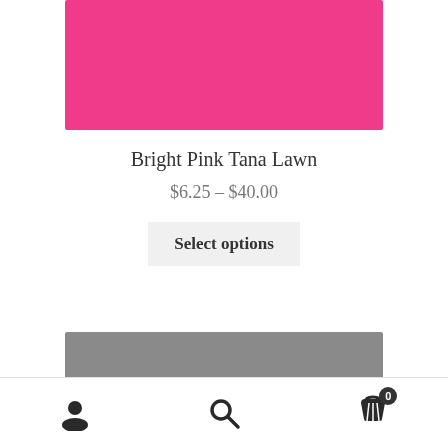[Figure (photo): Bright pink/hot pink solid color fabric swatch image]
Bright Pink Tana Lawn
$6.25 – $40.00
Select options
[Figure (photo): Gray/dark colored fabric swatch image, partially visible at bottom]
User icon | Search icon | Cart icon with 0 items